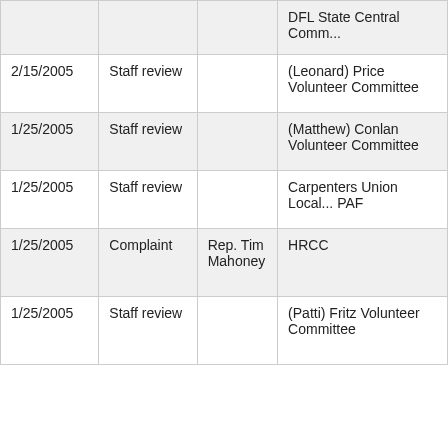|  |  |  | DFL State Central Comm... |
| 2/15/2005 | Staff review |  | (Leonard) Price Volunteer Committee |
| 1/25/2005 | Staff review |  | (Matthew) Conlan Volunteer Committee |
| 1/25/2005 | Staff review |  | Carpenters Union Local... PAF |
| 1/25/2005 | Complaint | Rep. Tim Mahoney | HRCC |
| 1/25/2005 | Staff review |  | (Patti) Fritz Volunteer Committee |